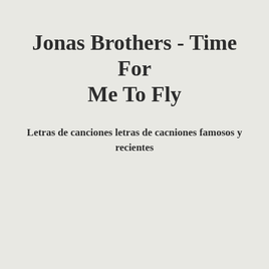Jonas Brothers - Time For Me To Fly
Letras de canciones letras de cacniones famosos y recientes